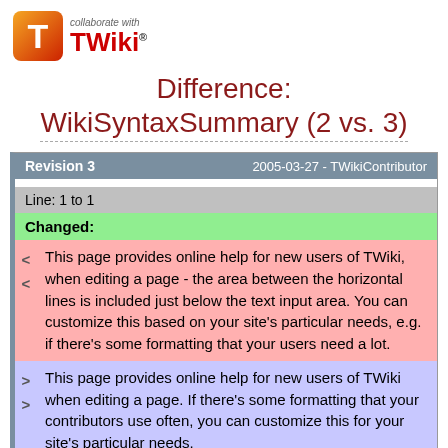[Figure (logo): TWiki logo with orange/red T icon and 'collaborate with TWiki' text]
Difference: WikiSyntaxSummary (2 vs. 3)
| Revision 3 | 2005-03-27 - TWikiContributor |
| --- | --- |
Line: 1 to 1
Changed:
< This page provides online help for new users of TWiki, when editing a page - the area between the horizontal lines is included just below the text input area. You can customize this based on your site's particular needs, e.g. if there's some formatting that your users need a lot.
> This page provides online help for new users of TWiki when editing a page. If there's some formatting that your contributors use often, you can customize this for your site's particular needs.